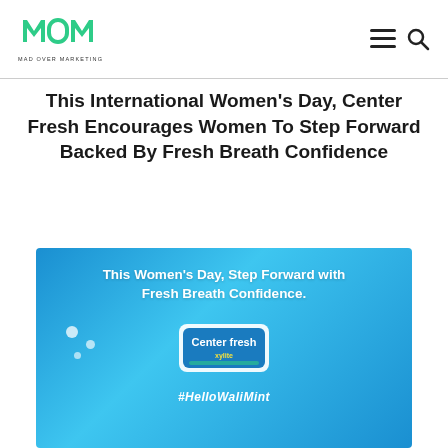MAD OVER MARKETING
This International Women's Day, Center Fresh Encourages Women To Step Forward Backed By Fresh Breath Confidence
[Figure (illustration): Center Fresh gum advertisement on a blue gradient background. Text reads 'This Women's Day, Step Forward with Fresh Breath Confidence.' with Center Fresh Xylite product shown and hashtag #HelloWaliMint]